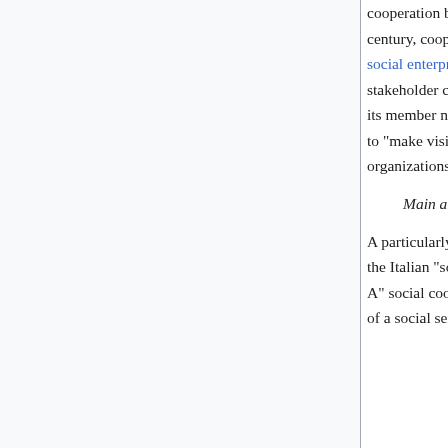cooperation between co-operatives. In the final year of the 20th century, cooperatives banded together to establish a number of social enterprise agencies that have moved to adopt the multi-stakeholder cooperative model. In the years 1994–2009 the EU and its member nations gradually revised national accounting systems to "make visible" the increasing contribution of social economy organizations.
Main article: Social cooperative
A particularly successful form of multi-stakeholder cooperative is the Italian "social cooperative", of which some 11,000 exist. "Type A" social cooperatives bring together providers and beneficiaries of a social service as members. "Type B" social cooperatives